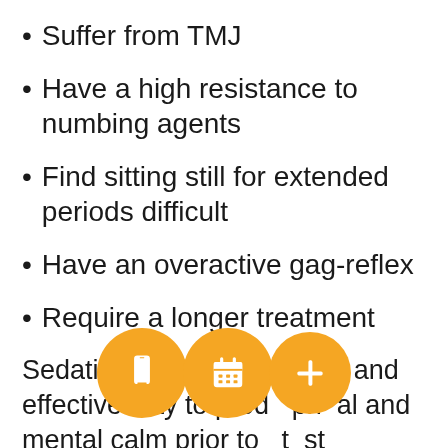Suffer from TMJ
Have a high resistance to numbing agents
Find sitting still for extended periods difficult
Have an overactive gag-reflex
Require a longer treatment
Sedation dentistry is a safe and effective way to prod  ph  al and mental calm prior to  t  st involved of procedures. During your